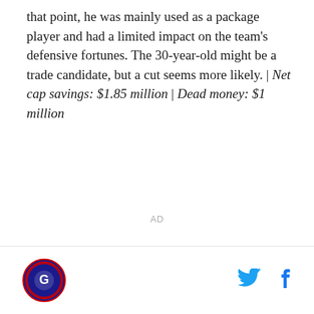that point, he was mainly used as a package player and had a limited impact on the team's defensive fortunes. The 30-year-old might be a trade candidate, but a cut seems more likely. | Net cap savings: $1.85 million | Dead money: $1 million
AD
[Figure (logo): Circular team logo with red border and dark blue background]